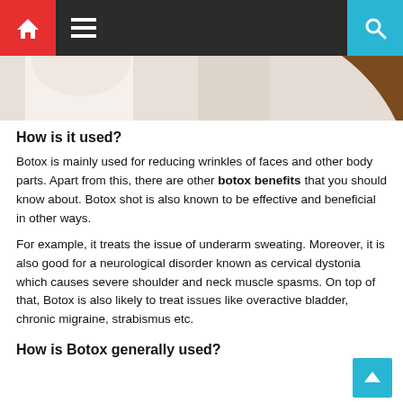Navigation bar with home, menu, and search icons
[Figure (photo): Partial view of two people, showing shoulders and hair, on a light background — cropped image strip]
How is it used?
Botox is mainly used for reducing wrinkles of faces and other body parts. Apart from this, there are other botox benefits that you should know about. Botox shot is also known to be effective and beneficial in other ways.
For example, it treats the issue of underarm sweating. Moreover, it is also good for a neurological disorder known as cervical dystonia which causes severe shoulder and neck muscle spasms. On top of that, Botox is also likely to treat issues like overactive bladder, chronic migraine, strabismus etc.
How is Botox generally used?